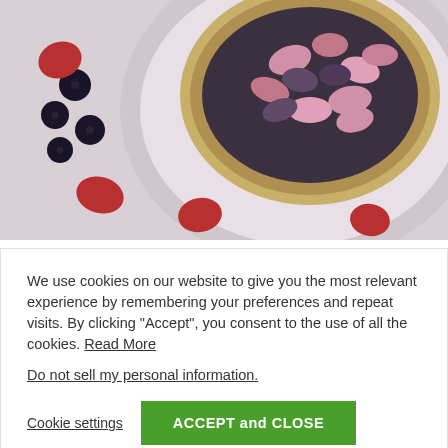[Figure (photo): Overhead photo of a bowl with freeze-dried fruit — pink and purple pieces, with blueberries and dried strawberries scattered around on a white surface.]
We use cookies on our website to give you the most relevant experience by remembering your preferences and repeat visits. By clicking "Accept", you consent to the use of all the cookies. Read More
Do not sell my personal information.
Cookie settings   ACCEPT and CLOSE
after-work snack.
Banana Sushi
Search for
1. Fun Snacks for Kids
2. Quick Snacks for Kids